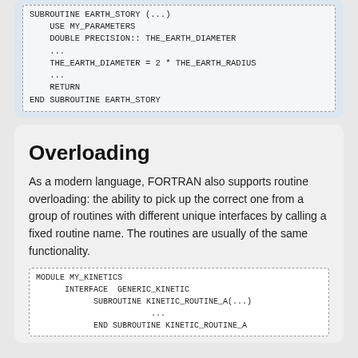[Figure (screenshot): Code block showing FORTRAN SUBROUTINE EARTH_STORY with USE MY_PARAMETERS, DOUBLE PRECISION declaration, and END SUBROUTINE]
Overloading
As a modern language, FORTRAN also supports routine overloading: the ability to pick up the correct one from a group of routines with different unique interfaces by calling a fixed routine name. The routines are usually of the same functionality.
[Figure (screenshot): Code block showing MODULE MY_KINETICS with INTERFACE GENERIC_KINETIC, SUBROUTINE KINETIC_ROUTINE_A(...), and END SUBROUTINE KINETIC_ROUTINE_A]